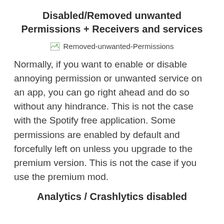Disabled/Removed unwanted Permissions + Receivers and services
[Figure (illustration): Broken image placeholder with alt text: Removed-unwanted-Permissions]
Normally, if you want to enable or disable annoying permission or unwanted service on an app, you can go right ahead and do so without any hindrance. This is not the case with the Spotify free application. Some permissions are enabled by default and forcefully left on unless you upgrade to the premium version. This is not the case if you use the premium mod.
Analytics / Crashlytics disabled